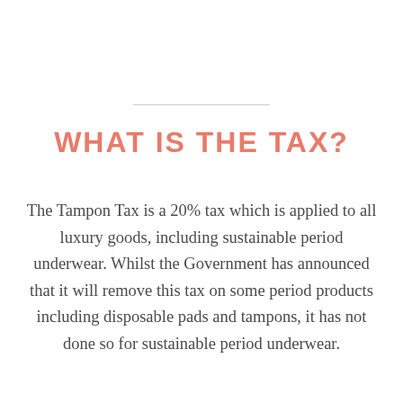WHAT IS THE TAX?
The Tampon Tax is a 20% tax which is applied to all luxury goods, including sustainable period underwear. Whilst the Government has announced that it will remove this tax on some period products including disposable pads and tampons, it has not done so for sustainable period underwear.